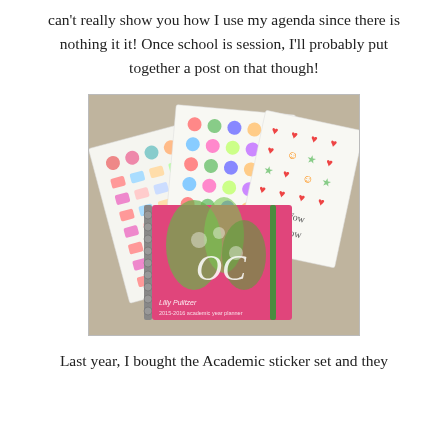can't really show you how I use my agenda since there is nothing it it! Once school is session, I'll probably put together a post on that though!
[Figure (photo): A pink Lilly Pulitzer agenda/planner with a floral and monogram design on the cover, surrounded by several sheets of colorful stickers featuring icons like cocktails, bows, fruits, hearts, and smiley faces. Items are laid out on a beige carpet.]
Last year, I bought the Academic sticker set and they